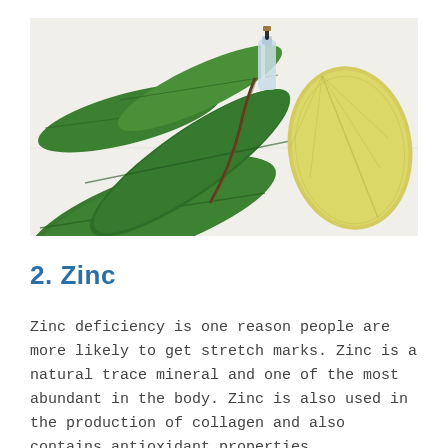[Figure (photo): Photograph of green bay leaves and a small glass bottle/dropper vial alongside a yellow leaf-shaped ceramic dish, arranged on a white surface.]
2. Zinc
Zinc deficiency is one reason people are more likely to get stretch marks. Zinc is a natural trace mineral and one of the most abundant in the body. Zinc is also used in the production of collagen and also contains antioxidant properties.